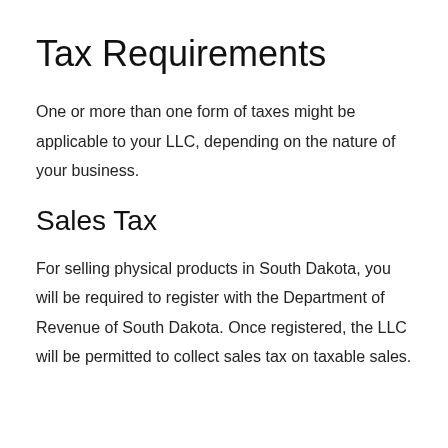Tax Requirements
One or more than one form of taxes might be applicable to your LLC, depending on the nature of your business.
Sales Tax
For selling physical products in South Dakota, you will be required to register with the Department of Revenue of South Dakota. Once registered, the LLC will be permitted to collect sales tax on taxable sales.